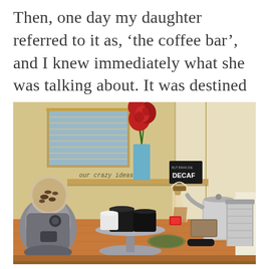Then, one day my daughter referred to it as, 'the coffee bar', and I knew immediately what she was talking about. It was destined to be.
[Figure (photo): A home coffee bar setup on a wooden counter featuring a coffee grinder with beans, mugs on a cake stand, a Chemex pour-over carafe, a kettle, red flowers in a vase, a sign reading 'our crazy ideas', and a small chalkboard sign reading 'DECAF'. Warm yellow walls and a window with blinds visible in the background.]